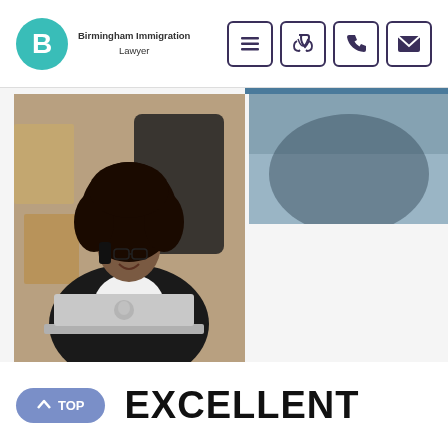Birmingham Immigration Lawyer
[Figure (photo): A woman with natural hair, wearing a black blazer over a white top, smiling while talking on a phone and working on a MacBook laptop in an office setting with boxes in the background.]
[Figure (photo): Partial view of another photo partially visible on the right side of the screen.]
EXCELLENT
^ TOP